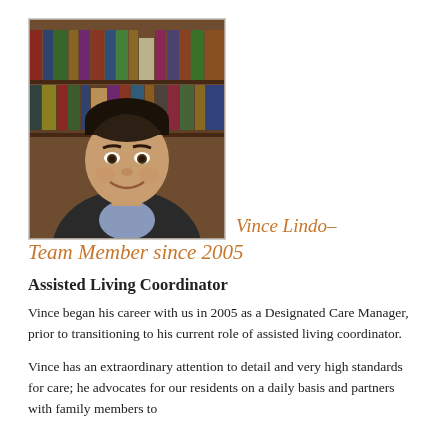[Figure (photo): Professional headshot of Vince Lindo, a man smiling, wearing a dark blazer and light blue collared shirt, with bookshelves in the background.]
Vince Lindo– Team Member since 2005
Assisted Living Coordinator
Vince began his career with us in 2005 as a Designated Care Manager, prior to transitioning to his current role of assisted living coordinator.
Vince has an extraordinary attention to detail and very high standards for care; he advocates for our residents on a daily basis and partners with family members to